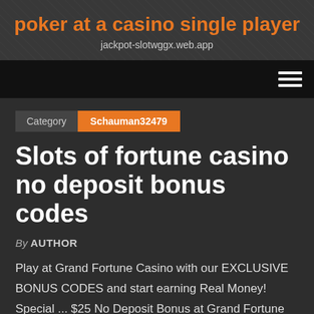poker at a casino single player
jackpot-slotwggx.web.app
[Figure (other): Navigation bar with hamburger menu icon (three horizontal lines) on dark/black background]
Category   Schauman32479
Slots of fortune casino no deposit bonus codes
By AUTHOR
Play at Grand Fortune Casino with our EXCLUSIVE BONUS CODES and start earning Real Money! Special ... $25 No Deposit Bonus at Grand Fortune Casino.